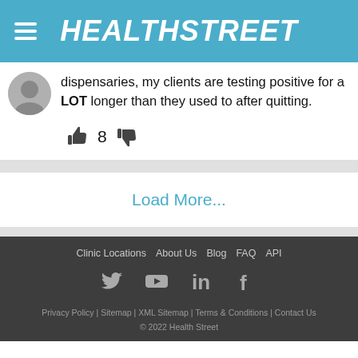HealthStreet
dispensaries, my clients are testing positive for a LOT longer than they used to after quitting.
👍 8 👎
Load More...
Clinic Locations | About Us | Blog | FAQ | API | Privacy Policy | Sitemap | XML Sitemap | Terms & Conditions | Contact Us | © 2022 Health Street